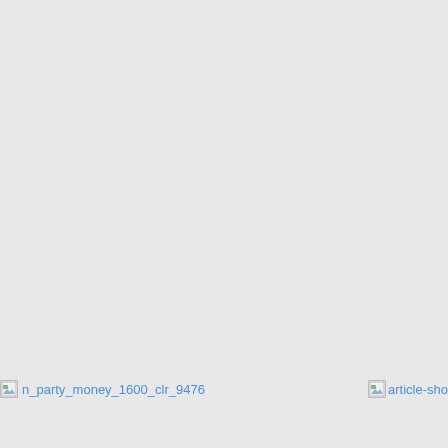[Figure (other): Broken image link reference: n_party_money_1600_clr_9476]
[Figure (other): Broken image link reference: article-sho...]